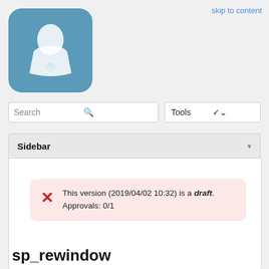skip to content
[Figure (logo): Blue rounded square logo with white dress/gem icon]
Search
Tools
Sidebar
This version (2019/04/02 10:32) is a draft.
Approvals: 0/1
sp_rewindow